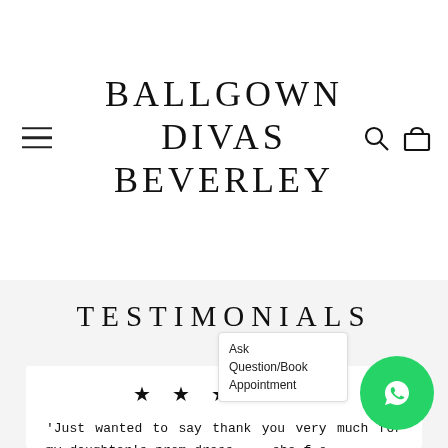BALLGOWN DIVAS BEVERLEY
TESTIMONIALS
'Just wanted to say thank you very much for my daughter's prom dress ... she f[ound it?] o[n] Friday and she looked absolut[ely stunning] sh[e] could post a pic) fantastic ser[vice] [and] priced too ... thanks again'